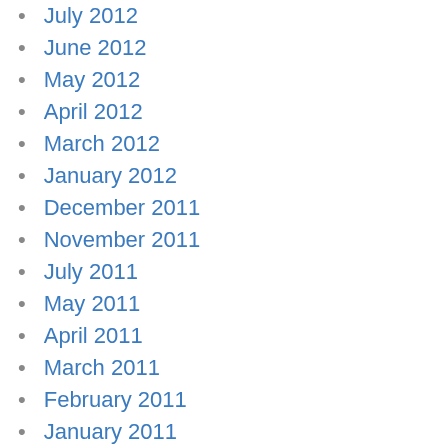July 2012
June 2012
May 2012
April 2012
March 2012
January 2012
December 2011
November 2011
July 2011
May 2011
April 2011
March 2011
February 2011
January 2011
November 2010
October 2010
September 2010